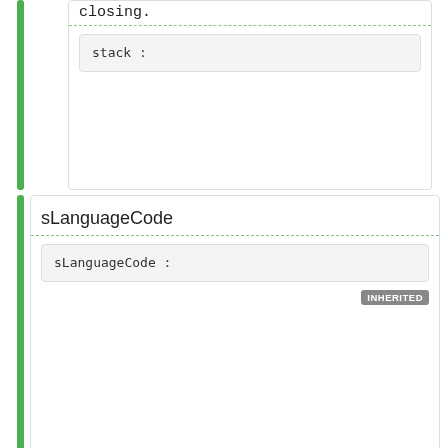closing.
stack :
sLanguageCode
sLanguageCode :
INHERITED
translator
translator :\Translator
INHERITED
filename
filename :